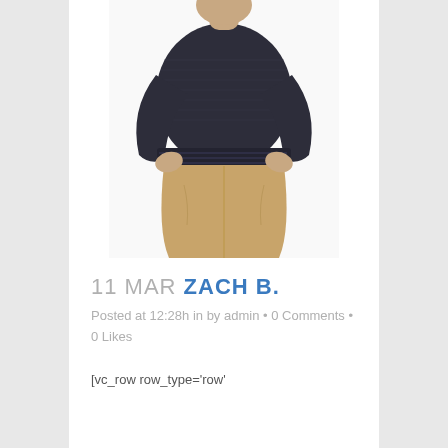[Figure (photo): A man wearing a dark heathered knit sweater and khaki/tan shorts, shown from neck to mid-thigh, hands holding the sides of the shorts, white background.]
11 MAR ZACH B.
Posted at 12:28h in by admin • 0 Comments • 0 Likes
[vc_row row_type='row'